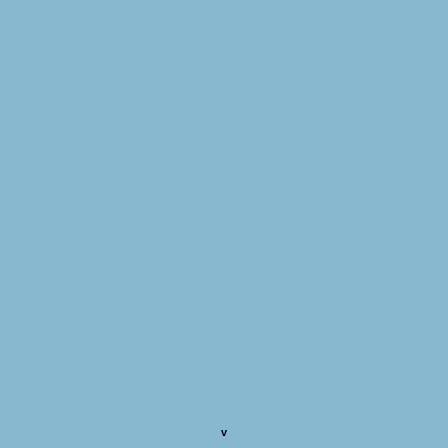[Figure (illustration): Light blue rectangle filling the left side of the page]
org.eclips...
org.eclips...
Op... (bold blue)
org.eclips...
org.eclips...
org.eclips...
org.eclips...
org...
org...
org...
org...
org...
Ad... (bold blue)
org...
org...
Co... (bold blue)
org...
org...
org...
org...
org...
org...
org...
org...
orc...
v